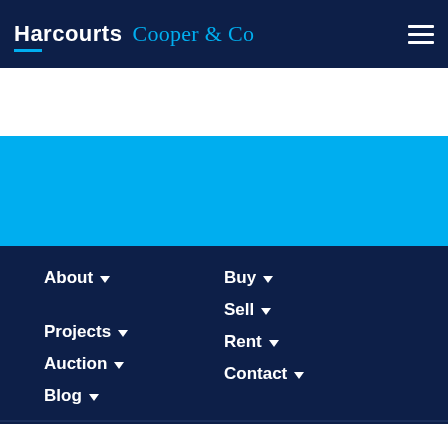Harcourts Cooper & Co
[Figure (other): Blue banner area below header navigation]
About ▾
Buy ▾
Sell ▾
Rent ▾
Projects ▾
Contact ▾
Auction ▾
Blog ▾